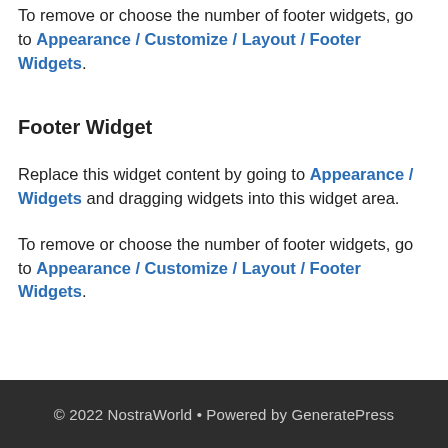To remove or choose the number of footer widgets, go to Appearance / Customize / Layout / Footer Widgets.
Footer Widget
Replace this widget content by going to Appearance / Widgets and dragging widgets into this widget area.
To remove or choose the number of footer widgets, go to Appearance / Customize / Layout / Footer Widgets.
© 2022 NostraWorld • Powered by GeneratePress